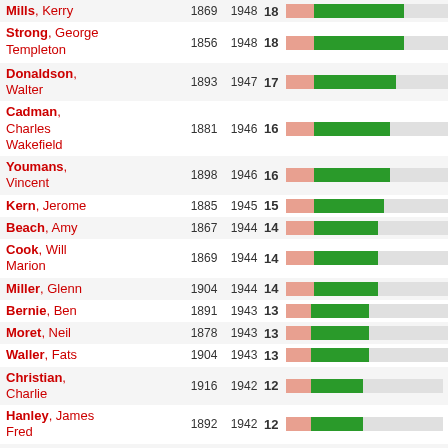[Figure (bar-chart): Music composers ranked list]